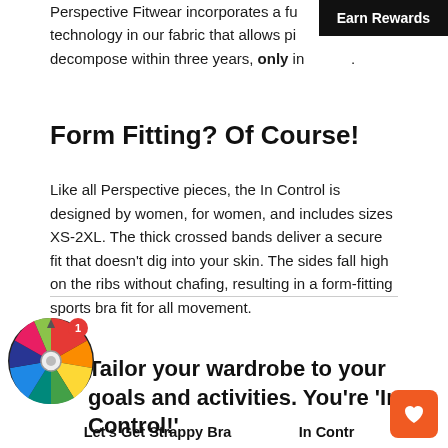Perspective Fitwear incorporates a [technology] in our fabric that allows pi[ece to] decompose within three years, only in [landfill].
[Figure (other): Earn Rewards badge overlay — black rectangle with white bold text 'Earn Rewards']
Form Fitting? Of Course!
Like all Perspective pieces, the In Control is designed by women, for women, and includes sizes XS-2XL. The thick crossed bands deliver a secure fit that doesn't dig into your skin. The sides fall high on the ribs without chafing, resulting in a form-fitting sports bra fit for all movement.
Tailor your wardrobe to your goals and activities. You're 'In Control!'
[Figure (illustration): Colorful prize wheel spinner with notification badge showing '1']
Let's Get Strappy Bra   In Contr[ol]
[Figure (other): Orange heart/wishlist button in bottom right corner]